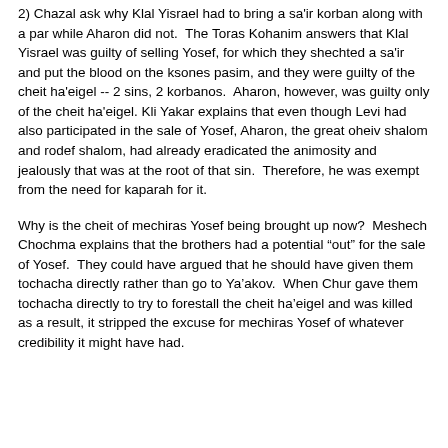2) Chazal ask why Klal Yisrael had to bring a sa'ir korban along with a par while Aharon did not.  The Toras Kohanim answers that Klal Yisrael was guilty of selling Yosef, for which they shechted a sa'ir and put the blood on the ksones pasim, and they were guilty of the cheit ha'eigel -- 2 sins, 2 korbanos.  Aharon, however, was guilty only of the cheit ha'eigel. Kli Yakar explains that even though Levi had also participated in the sale of Yosef, Aharon, the great oheiv shalom and rodef shalom, had already eradicated the animosity and jealously that was at the root of that sin.  Therefore, he was exempt from the need for kaparah for it.
Why is the cheit of mechiras Yosef being brought up now?  Meshech Chochma explains that the brothers had a potential “out” for the sale of Yosef.  They could have argued that he should have given them tochacha directly rather than go to Ya’akov.  When Chur gave them tochacha directly to try to forestall the cheit ha’eigel and was killed as a result, it stripped the excuse for mechiras Yosef of whatever credibility it might have had.